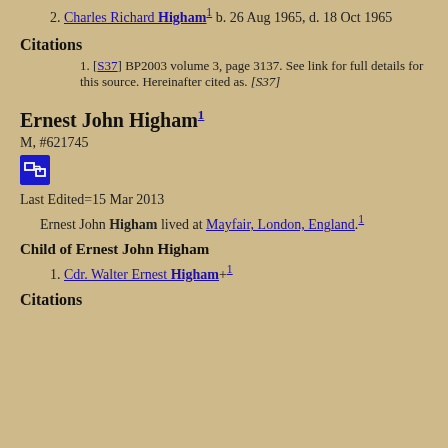2. Charles Richard Higham¹ b. 26 Aug 1965, d. 18 Oct 1965
Citations
[S37] BP2003 volume 3, page 3137. See link for full details for this source. Hereinafter cited as. [S37]
Ernest John Higham¹
M, #621745
Last Edited=15 Mar 2013
Ernest John Higham lived at Mayfair, London, England.¹
Child of Ernest John Higham
1. Cdr. Walter Ernest Higham+¹
Citations